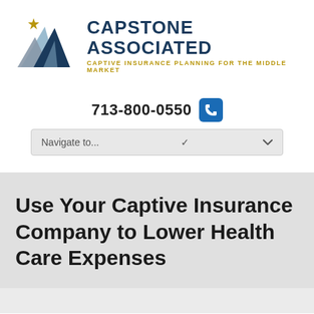[Figure (logo): Capstone Associated logo with mountain/triangle graphic and star, beside company name and tagline]
713-800-0550
[Figure (other): Navigation dropdown UI element reading 'Navigate to...']
Use Your Captive Insurance Company to Lower Health Care Expenses